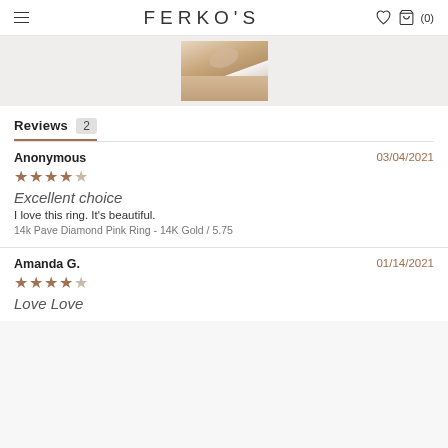FERKO'S
[Figure (photo): Close-up photo of a hand wearing a diamond ring, partial view]
Reviews 2
Anonymous
03/04/2021
★★★★★
Excellent choice
I love this ring. It's beautiful.
14k Pave Diamond Pink Ring - 14K Gold / 5.75
Amanda G.
01/14/2021
★★★★★
Love Love